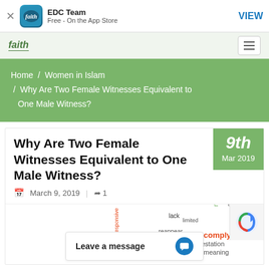EDC Team | Free - On the App Store | VIEW
faith | hamburger menu
Home / Women in Islam / Why Are Two Female Witnesses Equivalent to One Male Witness?
Why Are Two Female Witnesses Equivalent to One Male Witness?
March 9, 2019 | 1
[Figure (infographic): Word cloud with words including: on, narrative, lack, Federal, reappear, subpoena, responsive, meaning, comply, attestation, meaningless, privilege, matter, words, report, move, mission, Rules, answers, ultimate, limited]
Leave a message